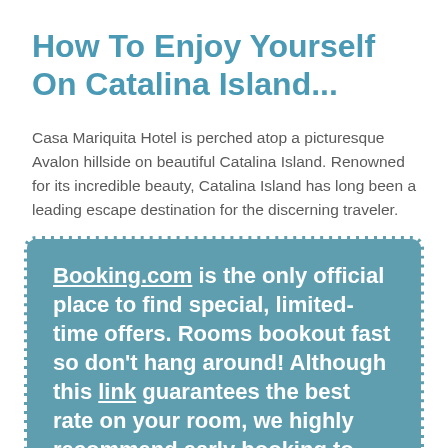How To Enjoy Yourself On Catalina Island...
Casa Mariquita Hotel is perched atop a picturesque Avalon hillside on beautiful Catalina Island. Renowned for its incredible beauty, Catalina Island has long been a leading escape destination for the discerning traveler.
Booking.com is the only official place to find special, limited-time offers. Rooms bookout fast so don't hang around! Although this link guarantees the best rate on your room, we highly recommend early booking to avoid disappointment later.